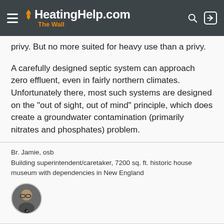HeatingHelp.com The Wall
privy. But no more suited for heavy use than a privy.
A carefully designed septic system can approach zero effluent, even in fairly northern climates. Unfortunately there, most such systems are designed on the "out of sight, out of mind" principle, which does create a groundwater contamination (primarily nitrates and phosphates) problem.
Br. Jamie, osb
Building superintendent/caretaker, 7200 sq. ft. historic house museum with dependencies in New England
[Figure (photo): Circular avatar photo of a person with glasses]